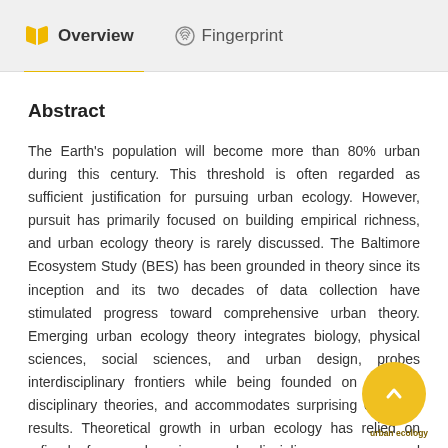Overview   Fingerprint
Abstract
The Earth's population will become more than 80% urban during this century. This threshold is often regarded as sufficient justification for pursuing urban ecology. However, pursuit has primarily focused on building empirical richness, and urban ecology theory is rarely discussed. The Baltimore Ecosystem Study (BES) has been grounded in theory since its inception and its two decades of data collection have stimulated progress toward comprehensive urban theory. Emerging urban ecology theory integrates biology, physical sciences, social sciences, and urban design, probes interdisciplinary frontiers while being founded on textbook disciplinary theories, and accommodates surprising empirical results. Theoretical growth in urban ecology has relied on refined frameworks, increased disciplinary scope, and longevity of interdisciplinary interactions. We describe the